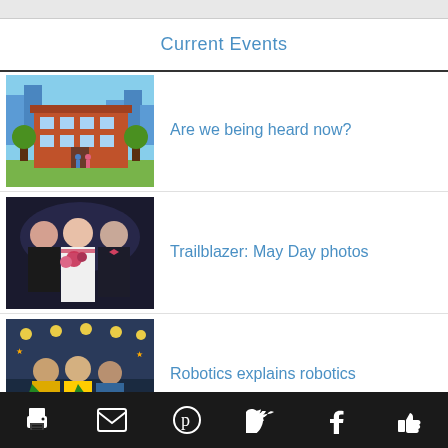Current Events
[Figure (illustration): Pixel art illustration of a school building with trees]
Are we being heard now?
[Figure (photo): Photo of students at a May Day event in formal wear]
Trailblazer: May Day photos
[Figure (photo): Photo of robotics team members in green and yellow capes at a competition]
Robotics explains robotics
Print | Email | Pinterest | Twitter | Facebook | Like